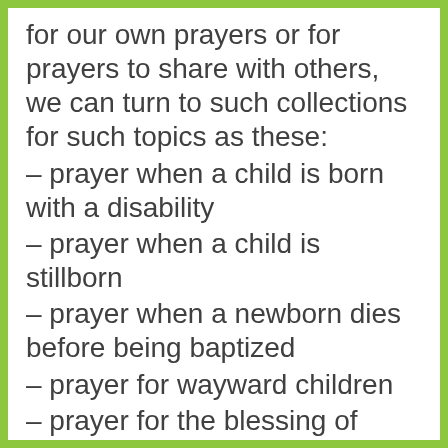for our own prayers or for prayers to share with others, we can turn to such collections for such topics as these:
– prayer when a child is born with a disability
– prayer when a child is stillborn
– prayer when a newborn dies before being baptized
– prayer for wayward children
– prayer for the blessing of children in a marriage
– prayer when the hour of birth draws near
– thanksgiving for a successful birth